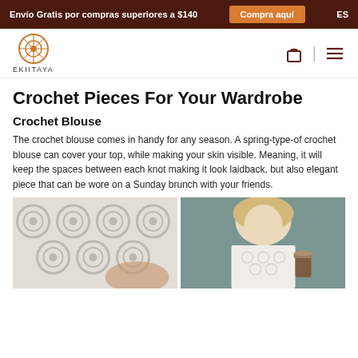Envío Gratis por compras superiores a $140   Compra aquí   ES
[Figure (logo): Ekiitaya logo — circular orange geometric symbol above the text EKIITAYA]
Crochet Pieces For Your Wardrobe
Crochet Blouse
The crochet blouse comes in handy for any season. A spring-type-of crochet blouse can cover your top, while making your skin visible. Meaning, it will keep the spaces between each knot making it look laidback, but also elegant piece that can be wore on a Sunday brunch with your friends.
[Figure (photo): Two side-by-side photos of women wearing white crochet blouses. Left: close-up of white crochet fabric pattern. Right: blonde woman holding a Starbucks cup wearing a white lace/crochet top.]